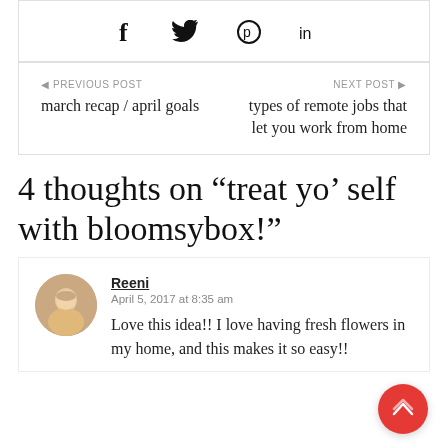[Figure (other): Social share icons: Facebook (f), Twitter (bird), Pinterest (P), LinkedIn (in)]
◄ PREVIOUS POST
march recap / april goals
NEXT POST ►
types of remote jobs that let you work from home
4 thoughts on “treat yo’ self with bloomsybox!”
Reeni
April 5, 2017 at 8:35 am
Love this idea!! I love having fresh flowers in my home, and this makes it so easy!!